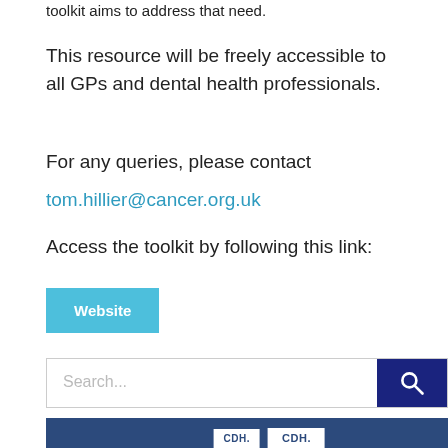toolkit aims to address that need.
This resource will be freely accessible to all GPs and dental health professionals.
For any queries, please contact tom.hillier@cancer.org.uk
Access the toolkit by following this link:
Website
[Figure (screenshot): Search bar with placeholder text 'Search...' and a dark navy blue search button with a magnifying glass icon on the right]
[Figure (photo): Dark blue banner at the bottom showing CDH branded cards/documents partially visible]